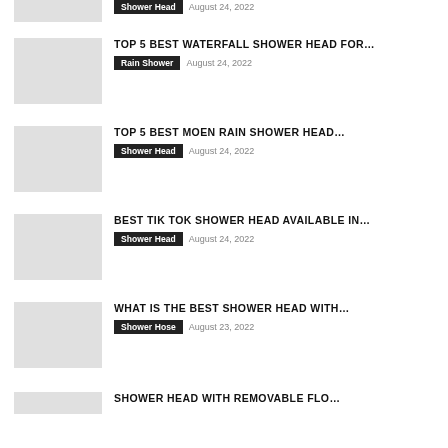SHOWER HEAD   August 24, 2022
TOP 5 BEST WATERFALL SHOWER HEAD FOR…
Rain Shower   August 24, 2022
TOP 5 BEST MOEN RAIN SHOWER HEAD…
Shower Head   August 24, 2022
BEST TIK TOK SHOWER HEAD AVAILABLE IN…
Shower Head   August 24, 2022
WHAT IS THE BEST SHOWER HEAD WITH…
Shower Hose   August 23, 2022
SHOWER HEAD WITH REMOVABLE FLO…